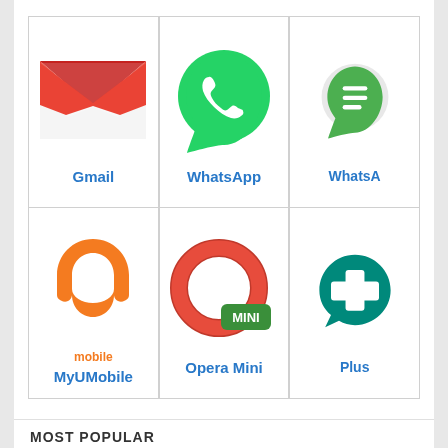[Figure (screenshot): App grid showing Gmail, WhatsApp, WhatsApp (partial), MyUMobile, Opera Mini, Plus (partial) app icons in a 2-row 3-column grid layout, with a 'MOST POPULAR' section header at the bottom]
MOST POPULAR